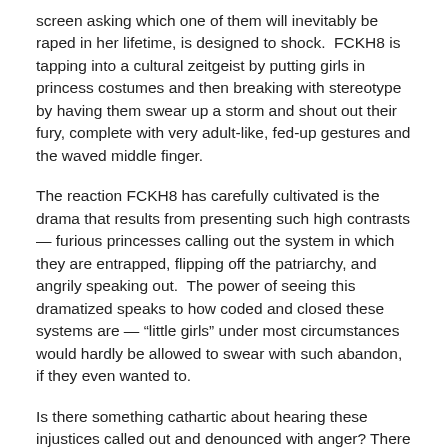screen asking which one of them will inevitably be raped in her lifetime, is designed to shock.  FCKH8 is tapping into a cultural zeitgeist by putting girls in princess costumes and then breaking with stereotype by having them swear up a storm and shout out their fury, complete with very adult-like, fed-up gestures and the waved middle finger.
The reaction FCKH8 has carefully cultivated is the drama that results from presenting such high contrasts — furious princesses calling out the system in which they are entrapped, flipping off the patriarchy, and angrily speaking out.  The power of seeing this dramatized speaks to how coded and closed these systems are — “little girls” under most circumstances would hardly be allowed to swear with such abandon, if they even wanted to.
Is there something cathartic about hearing these injustices called out and denounced with anger? There is.  For those furious about gender inequality it can be gratifying hearing these issues called out — when the adult women in the ad